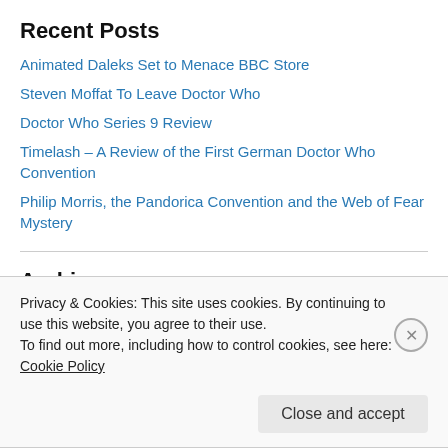Recent Posts
Animated Daleks Set to Menace BBC Store
Steven Moffat To Leave Doctor Who
Doctor Who Series 9 Review
Timelash – A Review of the First German Doctor Who Convention
Philip Morris, the Pandorica Convention and the Web of Fear Mystery
Archives
September 2016
January 2016
October 2015
Privacy & Cookies: This site uses cookies. By continuing to use this website, you agree to their use.
To find out more, including how to control cookies, see here: Cookie Policy
Close and accept